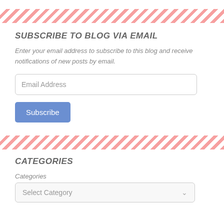[Figure (infographic): Red and white diagonal stripe decorative bar]
SUBSCRIBE TO BLOG VIA EMAIL
Enter your email address to subscribe to this blog and receive notifications of new posts by email.
Email Address
Subscribe
[Figure (infographic): Red and white diagonal stripe decorative bar]
CATEGORIES
Categories
Select Category